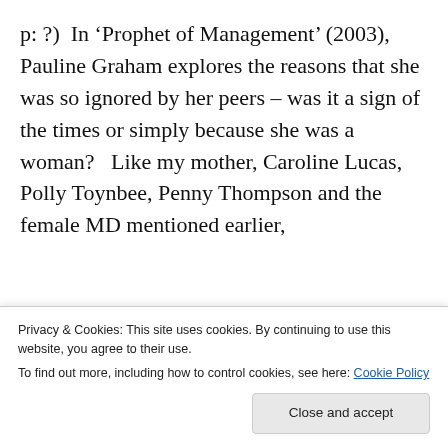p: ?)  In 'Prophet of Management' (2003), Pauline Graham explores the reasons that she was so ignored by her peers – was it a sign of the times or simply because she was a woman?   Like my mother, Caroline Lucas, Polly Toynbee, Penny Thompson and the female MD mentioned earlier,
[Figure (screenshot): WordPress mobile app advertisement banner with text 'Build a writing habit. Post on the go.' in dark blue bold serif font on light blue background, with 'GET THE APP' call to action in blue and WordPress logo icon.]
Privacy & Cookies: This site uses cookies. By continuing to use this website, you agree to their use.
To find out more, including how to control cookies, see here: Cookie Policy
Close and accept